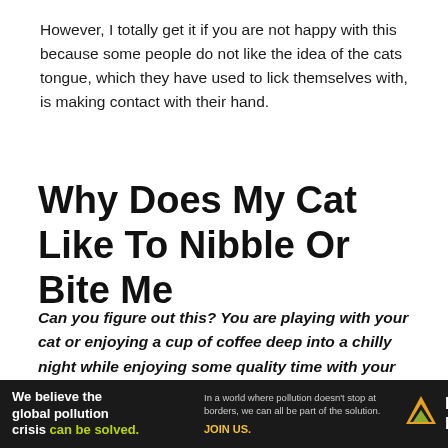However, I totally get it if you are not happy with this because some people do not like the idea of the cats tongue, which they have used to lick themselves with, is making contact with their hand.
Why Does My Cat Like To Nibble Or Bite Me
Can you figure out this? You are playing with your cat or enjoying a cup of coffee deep into a chilly night while enjoying some quality time with your cat and out of nowhere the feline suddenly gives you a little nip. Ouch! Given the fact that cats come with razor sharp pair of teeth this common behavioral habit can be distressing especially to new pet
[Figure (infographic): Advertisement banner for Pure Earth. Left text: 'We believe the global pollution crisis can be solved.' (with 'can be solved' in green). Middle text: 'In a world where pollution doesn't stop at borders, we can all be part of the solution. JOIN US.' Right: Pure Earth logo with diamond/triangle icon and 'PURE EARTH' text.]